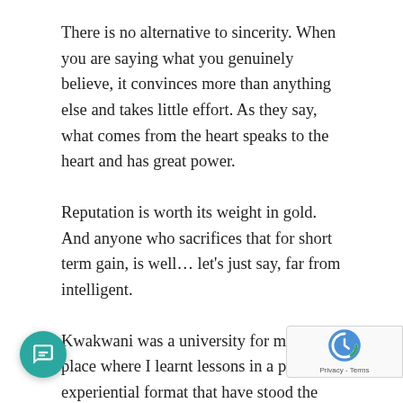There is no alternative to sincerity. When you are saying what you genuinely believe, it convinces more than anything else and takes little effort. As they say, what comes from the heart speaks to the heart and has great power.
Reputation is worth its weight in gold. And anyone who sacrifices that for short term gain, is well… let's just say, far from intelligent.
Kwakwani was a university for me. A place where I learnt lessons in a powerful experiential format that have stood the test of time in my life. I am most grateful to people like Nick Adams, Ste… Lewis, Peter Ramsingh, Norman Lindie and others